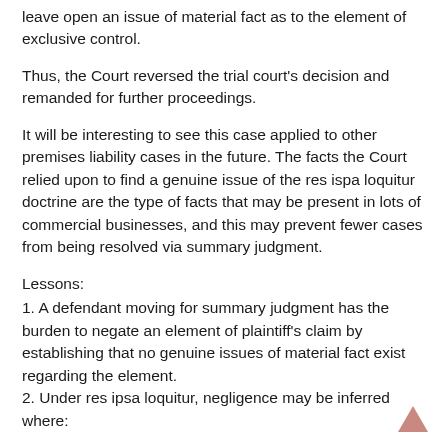leave open an issue of material fact as to the element of exclusive control.
Thus, the Court reversed the trial court's decision and remanded for further proceedings.
It will be interesting to see this case applied to other premises liability cases in the future. The facts the Court relied upon to find a genuine issue of the res ispa loquitur doctrine are the type of facts that may be present in lots of commercial businesses, and this may prevent fewer cases from being resolved via summary judgment.
Lessons:
1. A defendant moving for summary judgment has the burden to negate an element of plaintiff's claim by establishing that no genuine issues of material fact exist regarding the element.
2. Under res ipsa loquitur, negligence may be inferred where: